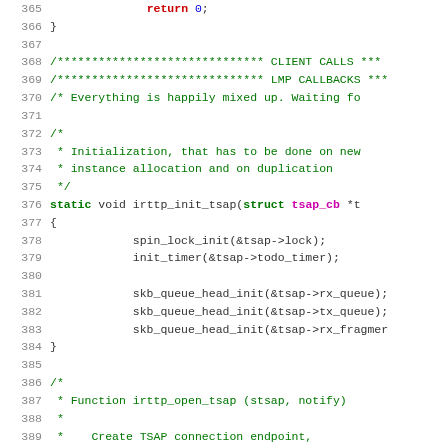[Figure (screenshot): Source code listing showing C code for IrTTP (Infrared Tiny Transport Protocol) with line numbers 365-392. The code includes function bodies, comments, and declarations with syntax highlighting in green for keywords, magenta for types, and red for return statements.]